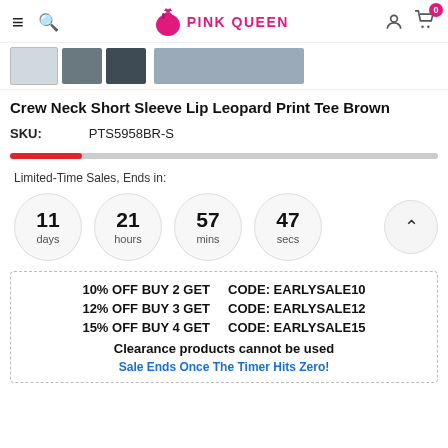PINK QUEEN
[Figure (screenshot): Thumbnail strip of product images for the tee shirt]
Crew Neck Short Sleeve Lip Leopard Print Tee Brown
SKU: PTS5958BR-S
[Figure (infographic): Progress bar showing limited stock remaining]
Limited-Time Sales, Ends in:
[Figure (infographic): Countdown timer showing 11 days, 21 hours, 57 mins, 47 secs]
10% OFF BUY 2 GET CODE: EARLYSALE10
12% OFF BUY 3 GET CODE: EARLYSALE12
15% OFF BUY 4 GET CODE: EARLYSALE15
Clearance products cannot be used
Sale Ends Once The Timer Hits Zero!